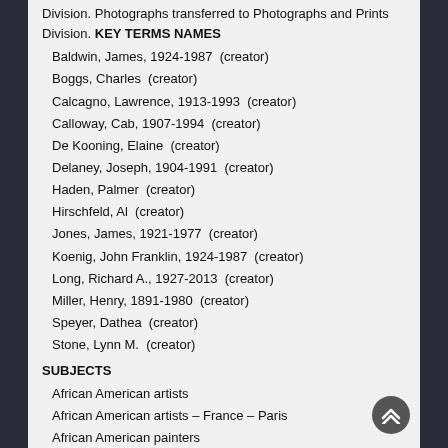Division. Photographs transferred to Photographs and Prints Division. KEY TERMS NAMES
Baldwin, James, 1924-1987  (creator)
Boggs, Charles  (creator)
Calcagno, Lawrence, 1913-1993  (creator)
Calloway, Cab, 1907-1994  (creator)
De Kooning, Elaine  (creator)
Delaney, Joseph, 1904-1991  (creator)
Haden, Palmer  (creator)
Hirschfeld, Al  (creator)
Jones, James, 1921-1977  (creator)
Koenig, John Franklin, 1924-1987  (creator)
Long, Richard A., 1927-2013  (creator)
Miller, Henry, 1891-1980  (creator)
Speyer, Dathea  (creator)
Stone, Lynn M.  (creator)
SUBJECTS
African American artists
African American artists – France – Paris
African American painters
African American painters – France – Paris
Artists – United States
Expatriate painters
Expatriate painters – France – Paris
Painters – France – Paris